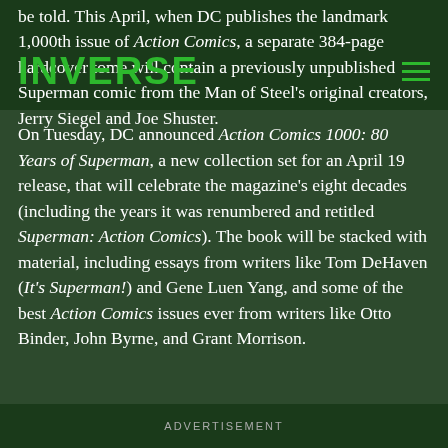INVERSE
be told. This April, when DC publishes the landmark 1,000th issue of Action Comics, a separate 384-page hardcover tome will contain a previously unpublished Superman comic from the Man of Steel's original creators, Jerry Siegel and Joe Shuster.
On Tuesday, DC announced Action Comics 1000: 80 Years of Superman, a new collection set for an April 19 release, that will celebrate the magazine's eight decades (including the years it was renumbered and retitled Superman: Action Comics). The book will be stacked with material, including essays from writers like Tom DeHaven (It's Superman!) and Gene Luen Yang, and some of the best Action Comics issues ever from writers like Otto Binder, John Byrne, and Grant Morrison.
ADVERTISEMENT